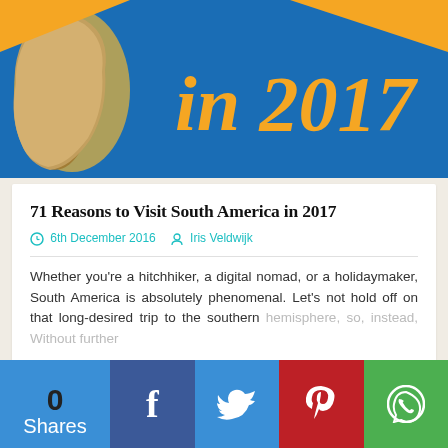[Figure (illustration): Hero banner image showing a map of South America on a blue background with large orange italic text 'in 2017' and orange corner decorations]
71 Reasons to Visit South America in 2017
6th December 2016  Iris Veldwijk
Whether you're a hitchhiker, a digital nomad, or a holidaymaker, South America is absolutely phenomenal. Let's not hold off on that long-desired trip to the southern hemisphere, so, instead, Without further
Continue reading
[Figure (infographic): Social sharing bar with 0 shares count and buttons for Facebook, Twitter, Pinterest, and WhatsApp]